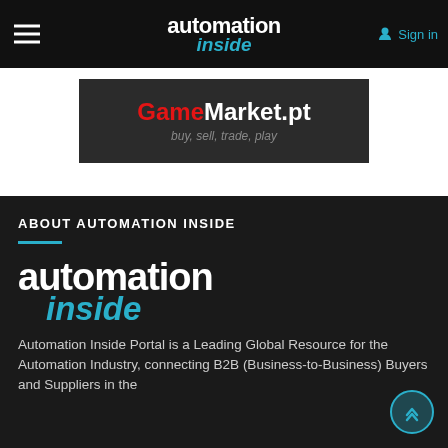automation inside — Sign in
[Figure (logo): GameMarket.pt advertisement banner: 'Game' in red, 'Market.pt' in white, tagline 'buy, sell, trade, play' in grey italic, on dark background]
ABOUT AUTOMATION INSIDE
[Figure (logo): Automation Inside logo: 'automation' in large white bold text, 'inside' in large teal italic text below]
Automation Inside Portal is a Leading Global Resource for the Automation Industry, connecting B2B (Business-to-Business) Buyers and Suppliers in the